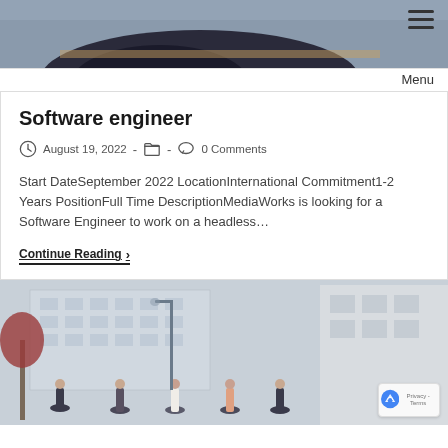[Figure (photo): Top portion of a photo showing a person in a dark jacket at a desk, cropped to show just the upper portion. Menu icon (three horizontal lines) in top right corner with 'Menu' text below it.]
Software engineer
August 19, 2022  -  [folder icon]  -  [comment icon]  0 Comments
Start DateSeptember 2022 LocationInternational Commitment1-2 Years PositionFull Time DescriptionMediaWorks is looking for a Software Engineer to work on a headless…
Continue Reading ›
[Figure (photo): Photo of a group of people (students or professionals) standing outdoors in front of large modern apartment/office buildings. People are in casual-to-business attire. There is a tree with reddish leaves on the left. A reCAPTCHA badge is visible in the bottom right corner.]